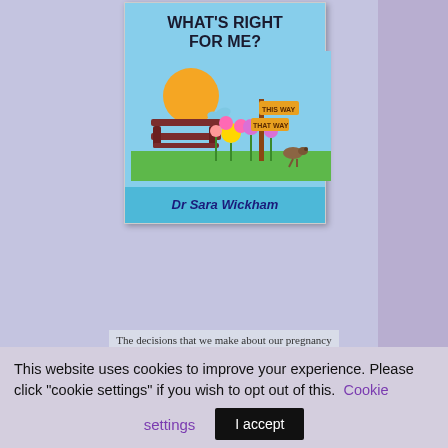[Figure (illustration): Book cover for 'What's Right For Me?' by Dr Sara Wickham. Light blue background with illustrated scene: a wooden park bench, colorful flowers (pink, yellow, purple), a directional signpost with 'This Way' and 'That Way' signs, a small bird, a butterfly, and an orange sun. Title text at top, author name at bottom of cover.]
The decisions that we make about our pregnancy and childbirth journeys can shape our
This website uses cookies to improve your experience. Please click "cookie settings" if you wish to opt out of this. Cookie settings | I accept